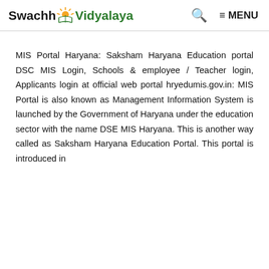Swachh Vidyalaya | Search | MENU
MIS Portal Haryana: Saksham Haryana Education portal DSC MIS Login, Schools & employee / Teacher login, Applicants login at official web portal hryedumis.gov.in: MIS Portal is also known as Management Information System is launched by the Government of Haryana under the education sector with the name DSE MIS Haryana. This is another way called as Saksham Haryana Education Portal. This portal is introduced in